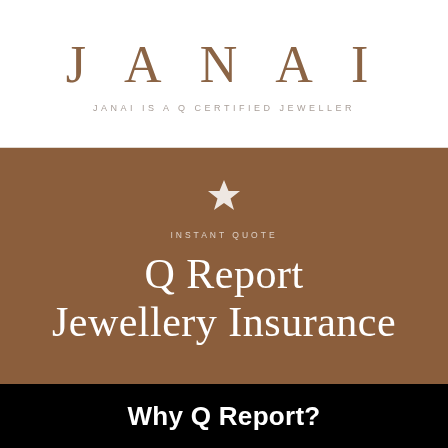[Figure (logo): JANAI jeweller logo with large spaced serif letters in brown/tan color]
JANAI IS A Q CERTIFIED JEWELLER
[Figure (infographic): Brown background panel with star icon, 'INSTANT QUOTE' label, and 'Q Report Jewellery Insurance' title text in white]
Why Q Report?